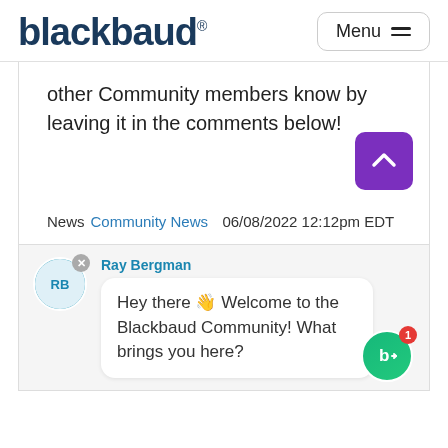[Figure (logo): Blackbaud logo in dark navy text with registered trademark symbol, and a Menu button with hamburger icon on the right]
other Community members know by leaving it in the comments below!
News Community News  06/08/2022 12:12pm EDT
Ray Bergman
Hey there 👋 Welcome to the Blackbaud Community! What brings you here?